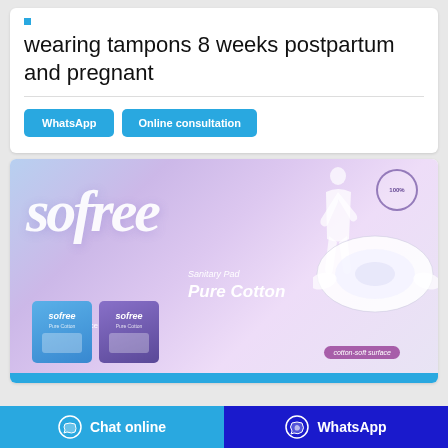wearing tampons 8 weeks postpartum and pregnant
WhatsApp | Online consultation
[Figure (illustration): Sofree Sanitary Pad Pure Cotton advertisement banner showing a woman in white dress jumping, sanitary pad products, and text listing features: skin friendly, cotton-soft surface, soft top sheet, breathable]
Chat online | WhatsApp